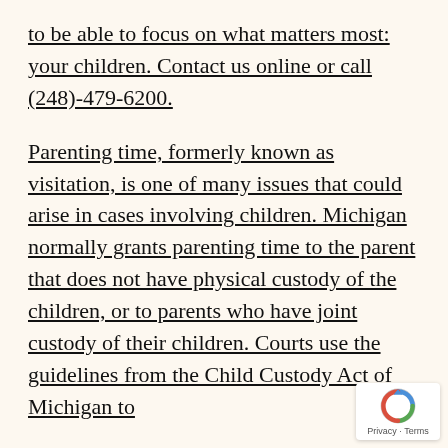to be able to focus on what matters most: your children. Contact us online or call (248)-479-6200.
Parenting time, formerly known as visitation, is one of many issues that could arise in cases involving children. Michigan normally grants parenting time to the parent that does not have physical custody of the children, or to parents who have joint custody of their children. Courts use the guidelines from the Child Custody Act of Michigan to